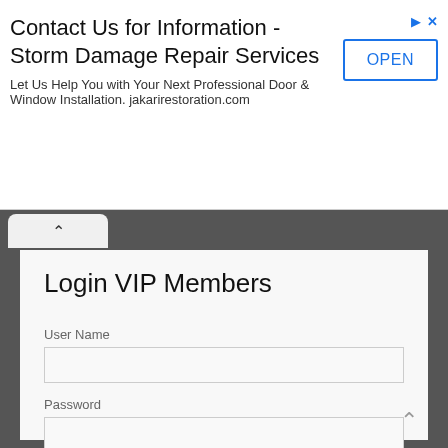[Figure (screenshot): Advertisement banner: Contact Us for Information - Storm Damage Repair Services. Let Us Help You with Your Next Professional Door & Window Installation. jakarirestoration.com. With an OPEN button on the right.]
Login VIP Members
User Name
Password
Remember Me
Log in
Forgot your password?
Forgot your username?